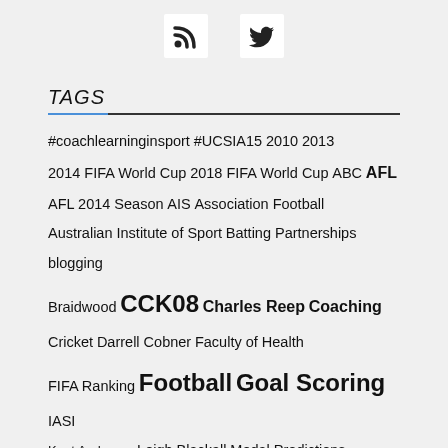[Figure (other): RSS and Twitter social icons]
TAGS
#coachlearninginsport #UCSIA15 2010 2013 2014 FIFA World Cup 2018 FIFA World Cup ABC AFL AFL 2014 Season AIS Association Football Australian Institute of Sport Batting Partnerships blogging Braidwood CCK08 Charles Reep Coaching Cricket Darrell Cobner Faculty of Health FIFA Ranking Football Goal Scoring IASI Kent Anderson Leigh Blackall Medal Predictions Mongarlowe Performance Radio National Ramona Koval Ranking Rugby Union RWC2019